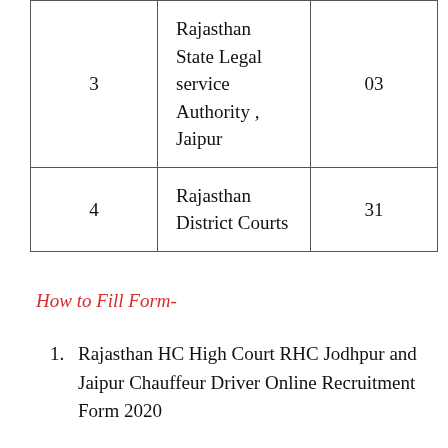|  |  |  |
| --- | --- | --- |
| 3 | Rajasthan State Legal service Authority , Jaipur | 03 |
| 4 | Rajasthan District Courts | 31 |
How to Fill Form-
Rajasthan HC High Court RHC Jodhpur and Jaipur Chauffeur Driver Online Recruitment Form 2020